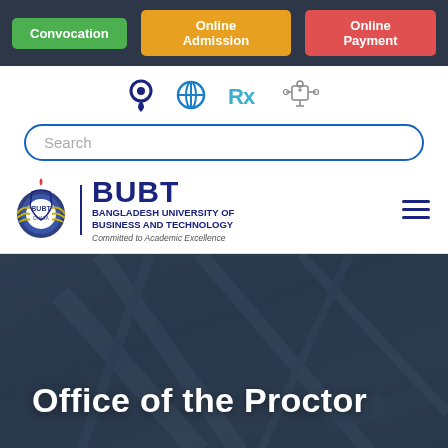Convocation | Online Admission | Online Payment
[Figure (screenshot): University website header with navigation icons including location pin, global/accessibility icon, Rx prescription icon, and a mechanical/tool icon]
Search
[Figure (logo): BUBT logo with university crest and text: BUBT BANGLADESH UNIVERSITY OF BUSINESS AND TECHNOLOGY Committed to Academic Excellence]
Office of the Proctor